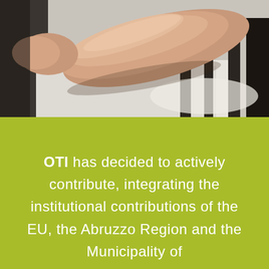[Figure (photo): Close-up photo of a person's arm/hand against a blurred background, likely in an indoor setting.]
OTI has decided to actively contribute, integrating the institutional contributions of the EU, the Abruzzo Region and the Municipality of Pescara, with its contributions and...